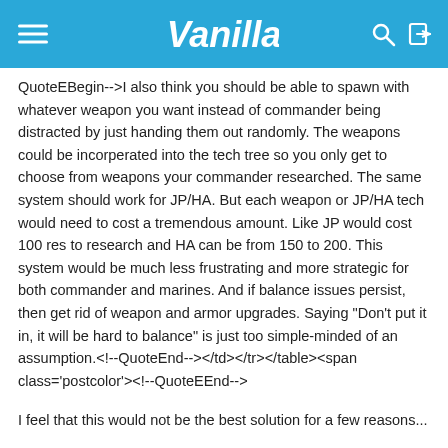Vanilla
QuoteEBegin-->I also think you should be able to spawn with whatever weapon you want instead of commander being distracted by just handing them out randomly. The weapons could be incorperated into the tech tree so you only get to choose from weapons your commander researched. The same system should work for JP/HA. But each weapon or JP/HA tech would need to cost a tremendous amount. Like JP would cost 100 res to research and HA can be from 150 to 200. This system would be much less frustrating and more strategic for both commander and marines. And if balance issues persist, then get rid of weapon and armor upgrades. Saying "Don't put it in, it will be hard to balance" is just too simple-minded of an assumption.<!--QuoteEnd--></td></tr></table><span class='postcolor'><!--QuoteEEnd-->
I feel that this would not be the best solution for a few reasons...
1) It takes power away from everyone's good friend, the